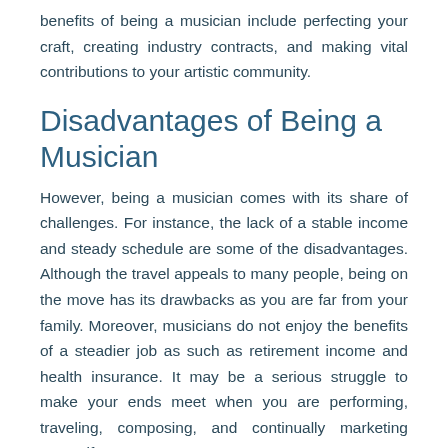benefits of being a musician include perfecting your craft, creating industry contracts, and making vital contributions to your artistic community.
Disadvantages of Being a Musician
However, being a musician comes with its share of challenges. For instance, the lack of a stable income and steady schedule are some of the disadvantages. Although the travel appeals to many people, being on the move has its drawbacks as you are far from your family. Moreover, musicians do not enjoy the benefits of a steadier job as such as retirement income and health insurance. It may be a serious struggle to make your ends meet when you are performing, traveling, composing, and continually marketing yourself.
Before you launch your career as a musician, you need to have a game plan. For instance, you have to consider costs that are associated with the work you do, including studio time, equipment, and production costs. Also, you will need to hire the services of sound engineers and public relations experts. Remember to factor in